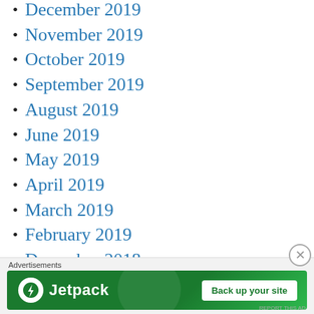December 2019
November 2019
October 2019
September 2019
August 2019
June 2019
May 2019
April 2019
March 2019
February 2019
December 2018
November 2018
October 2018
September 2018
[Figure (other): Jetpack advertisement banner: green background, Jetpack logo with lightning bolt icon, 'Back up your site' white button. Advertisements label above.]